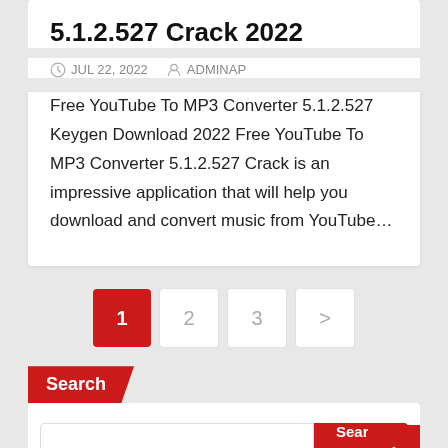5.1.2.527 Crack 2022
JUL 22, 2022  ADMINAP
Free YouTube To MP3 Converter 5.1.2.527 Keygen Download 2022 Free YouTube To MP3 Converter 5.1.2.527 Crack is an impressive application that will help you download and convert music from YouTube…
1  2  3  >
Search